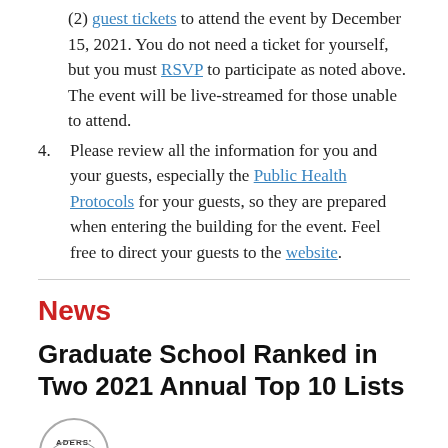(2) guest tickets to attend the event by December 15, 2021. You do not need a ticket for yourself, but you must RSVP to participate as noted above. The event will be live-streamed for those unable to attend.
4. Please review all the information for you and your guests, especially the Public Health Protocols for your guests, so they are prepared when entering the building for the event. Feel free to direct your guests to the website.
News
Graduate School Ranked in Two 2021 Annual Top 10 Lists
[Figure (logo): Partial circular logo with text 'ADERS:' visible, and 'The Cornell' text to the right]